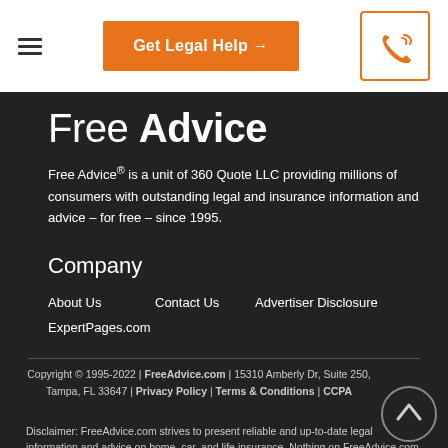≡  Get Legal Help →  [phone icon]
Free Advice
Free Advice® is a unit of 360 Quote LLC providing millions of consumers with outstanding legal and insurance information and advice – for free – since 1995.
Company
About Us
Contact Us
Advertiser Disclosure
ExpertPages.com
Copyright © 1995-2022 | FreeAdvice.com | 15310 Amberly Dr, Suite 250, Tampa, FL 33647 | Privacy Policy | Terms & Conditions | CCPA
Disclaimer: FreeAdvice.com strives to present reliable and up-to-date legal information and advice on home, car, and life insurance. Nothing on FreeAdvice.com constitutes legal...